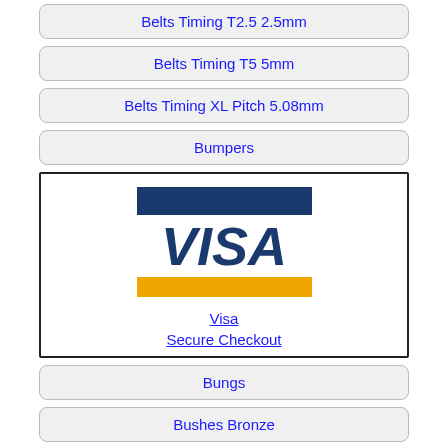Belts Timing T2.5 2.5mm
Belts Timing T5 5mm
Belts Timing XL Pitch 5.08mm
Bumpers
[Figure (logo): Visa Secure Checkout logo with blue and gold stripes and VISA text]
Bungs
Bushes Bronze
Bushes Plastic
Bushes Steel
Bushings Spherical